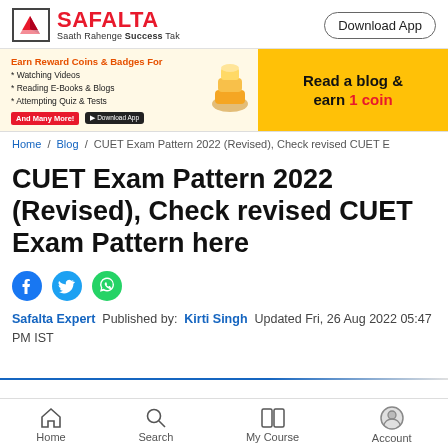[Figure (logo): Safalta logo with red arrow/book icon and tagline 'Saath Rahenge Success Tak']
[Figure (screenshot): Download App button (pill-shaped border)]
[Figure (infographic): Banner: Earn Reward Coins & Badges For Watching Videos, Reading E-Books & Blogs, Attempting Quiz & Tests, And Many More! Download App. Read a blog & earn 1 coin.]
Home / Blog / CUET Exam Pattern 2022 (Revised), Check revised CUET E
CUET Exam Pattern 2022 (Revised), Check revised CUET Exam Pattern here
[Figure (infographic): Social share icons: Facebook (blue), Twitter (blue), WhatsApp (green)]
Safalta Expert  Published by:  Kirti Singh  Updated Fri, 26 Aug 2022 05:47 PM IST
Home  Search  My Course  Account